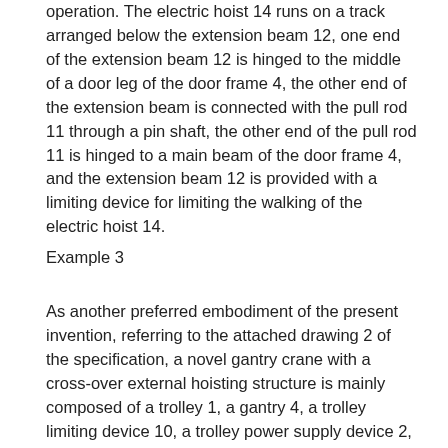operation. The electric hoist 14 runs on a track arranged below the extension beam 12, one end of the extension beam 12 is hinged to the middle of a door leg of the door frame 4, the other end of the extension beam is connected with the pull rod 11 through a pin shaft, the other end of the pull rod 11 is hinged to a main beam of the door frame 4, and the extension beam 12 is provided with a limiting device for limiting the walking of the electric hoist 14.
Example 3
As another preferred embodiment of the present invention, referring to the attached drawing 2 of the specification, a novel gantry crane with a cross-over external hoisting structure is mainly composed of a trolley 1, a gantry 4, a trolley limiting device 10, a trolley power supply device 2, a cart traveling mechanism 7, a cart power supply device 6, a cart limiting device 9, a ladder platform railing cab 3, a cross-over external hoisting device 5, and a cart track device 8. Dolly 1, dolly power supply unit 2 and ladder platform railing cab 3 all set up on portal 4's girder, and portal 4 gateleg sub-unit connection has cart running gear 7, cart power supply unit 6 and cart rail set 8, strides outer hoist device 5 mainly by hand block, stretches out roof